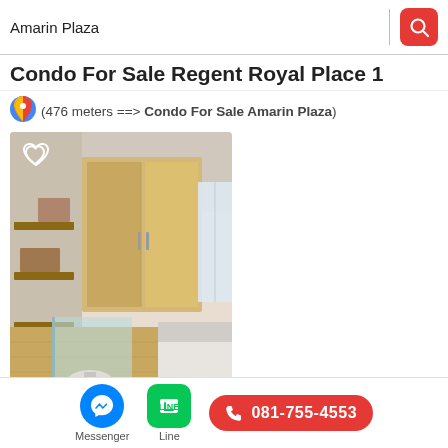Amarin Plaza
Condo For Sale Regent Royal Place 1
(476 meters ==> Condo For Sale Amarin Plaza)
[Figure (photo): Interior photo of a furnished condo room showing wardrobe, shelves, bed and bathroom area with glass partition]
Messenger
Line
081-755-4553